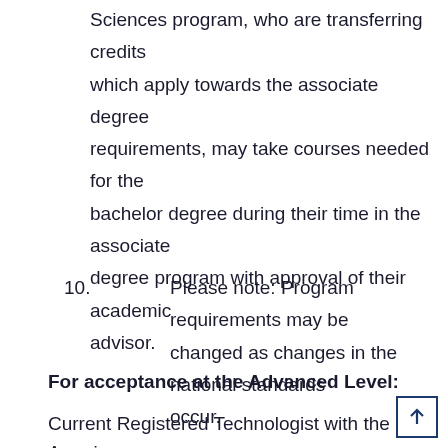Sciences program, who are transferring credits which apply towards the associate degree requirements, may take courses needed for the bachelor degree during their time in the associate degree program with approval of their academic advisor.
10. Please note: Program requirements may be changed as changes in the national standards occur.
For acceptance at the Advanced Level:
Current Registered Technologist with the American